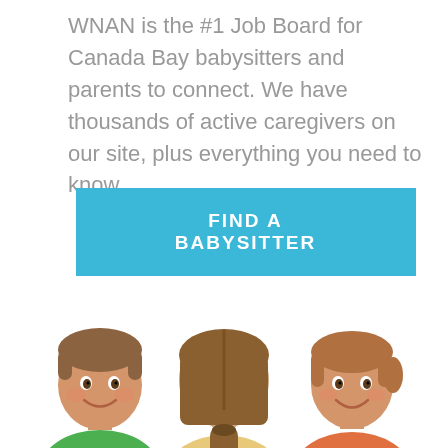WNAN is the #1 Job Board for Canada Bay babysitters and parents to connect. We have thousands of active caregivers on our site, plus everything you need to know.
[Figure (other): A blue call-to-action button with white bold text reading 'FIND A BABYSITTER']
[Figure (photo): Three children: a smiling boy on the left in a green shirt, a girl with a ponytail seen from behind in the center, and a smiling girl in an orange top on the right, all on a white background.]